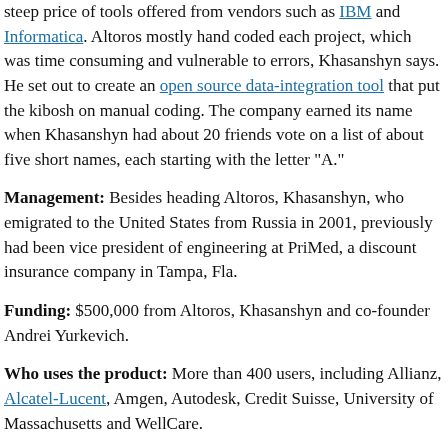steep price of tools offered from vendors such as IBM and Informatica. Altoros mostly hand coded each project, which was time consuming and vulnerable to errors, Khasanshyn says. He set out to create an open source data-integration tool that put the kibosh on manual coding. The company earned its name when Khasanshyn had about 20 friends vote on a list of about five short names, each starting with the letter "A."
Management: Besides heading Altoros, Khasanshyn, who emigrated to the United States from Russia in 2001, previously had been vice president of engineering at PriMed, a discount insurance company in Tampa, Fla.
Funding: $500,000 from Altoros, Khasanshyn and co-founder Andrei Yurkevich.
Who uses the product: More than 400 users, including Allianz, Alcatel-Lucent, Amgen, Autodesk, Credit Suisse, University of Massachusetts and WellCare.
Interesting fact: Like Khasanshyn, other company founders and